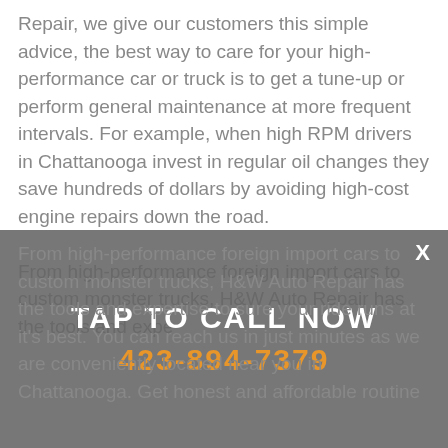Repair, we give our customers this simple advice, the best way to care for your high-performance car or truck is to get a tune-up or perform general maintenance at more frequent intervals. For example, when high RPM drivers in Chattanooga invest in regular oil changes they save hundreds of dollars by avoiding high-cost engine repairs down the road.

From high-performance foreign import cars to custom monster trucks, H&W Auto Repair has the tools and expertise to sure your ride runs at it's best. You can reach us in just minutes as we are conveniently located near you in Chattanooga. Get honest and affordable routine
[Figure (other): Call-to-action overlay banner with text 'TAP TO CALL NOW' and phone number '423-894-7379' on a semi-transparent grey background with a close X button]